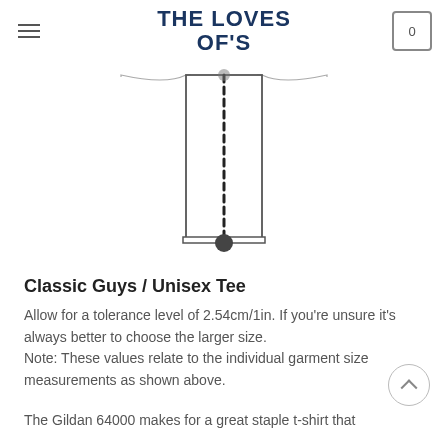THE LOVES OF'S
[Figure (illustration): Technical diagram of a t-shirt body showing the length measurement with a dashed vertical line from collar to hem, endpoints marked with filled circles, and the shirt outline in a rectangular form.]
Classic Guys / Unisex Tee
Allow for a tolerance level of 2.54cm/1in. If you're unsure it's always better to choose the larger size.
Note: These values relate to the individual garment size measurements as shown above.
The Gildan 64000 makes for a great staple t-shirt that